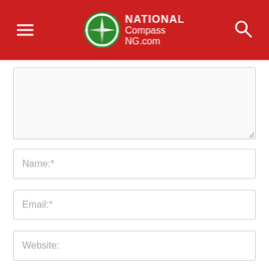NATIONAL Compass NG.com
[Figure (screenshot): Comment form with textarea, Name, Email, Website fields, a save checkbox, and a POST COMMENT button]